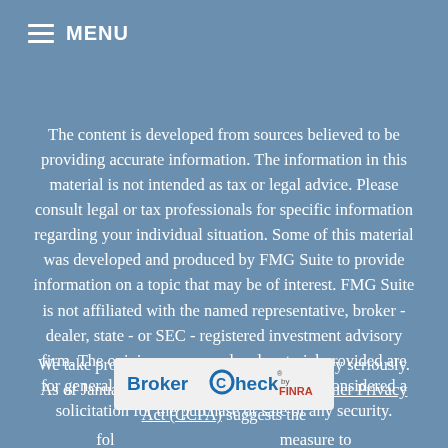Menu
The content is developed from sources believed to be providing accurate information. The information in this material is not intended as tax or legal advice. Please consult legal or tax professionals for specific information regarding your individual situation. Some of this material was developed and produced by FMG Suite to provide information on a topic that may be of interest. FMG Suite is not affiliated with the named representative, broker - dealer, state - or SEC - registered investment advisory firm. The opinions expressed and material provided are for general information, and should not be considered a solicitation for the purchase or sale of any security.
We take protecting your data and privacy very seriously. As of January 1, 2020 the California Consumer Privacy Act (CCPA) suggests the following measure to
[Figure (logo): BrokerCheck by FINRA logo badge]